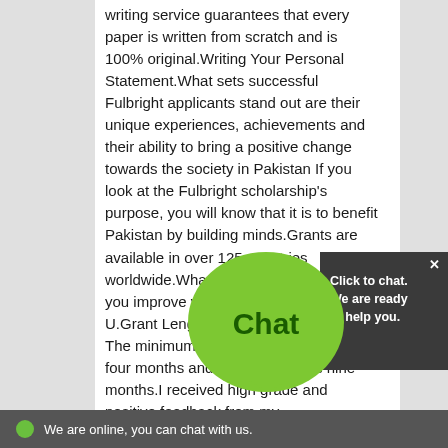writing service guarantees that every paper is written from scratch and is 100% original.Writing Your Personal Statement.What sets successful Fulbright applicants stand out are their unique experiences, achievements and their ability to bring a positive change towards the society in Pakistan If you look at the Fulbright scholarship's purpose, you will know that it is to benefit Pakistan by building minds.Grants are available in over 125 countries worldwide.What they teach you will help you improve your grades The Fulbright U.Grant Length: fulbright essay length The minimum length of the total grant is four months and the maximum is nine months.I received high grade and positive feedback from my instructor.These different but complete purposes.Fulbright is designed and aimed to who can contribute in a positive manner towards Pakistan
[Figure (other): Green chat bubble overlay with 'Chat' text and a dark panel saying 'Click to chat. We are ready to help you.' with a close X button]
We are online, you can chat with us.